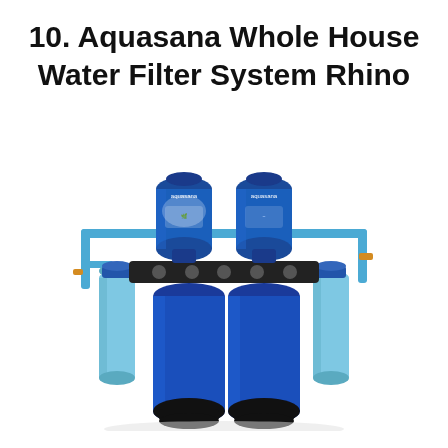10. Aquasana Whole House Water Filter System Rhino
[Figure (photo): Photo of the Aquasana Whole House Water Filter System Rhino, showing multiple blue filter tanks and canisters connected by blue piping, with two large dark blue upright tanks in the center, two smaller blue cylindrical pre/post filters on the sides, and two smaller blue top tanks labeled aquasana mounted on a horizontal blue pipe frame.]